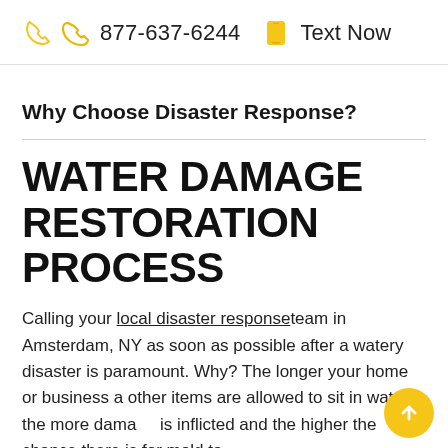877-637-6244   Text Now
Why Choose Disaster Response?
WATER DAMAGE RESTORATION PROCESS
Calling your local disaster response team in Amsterdam, NY as soon as possible after a watery disaster is paramount. Why? The longer your home or business and other items are allowed to sit in water, the more damage is inflicted and the higher the chance there is for mold to